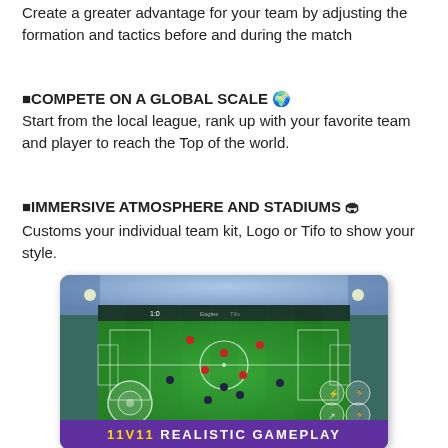Create a greater advantage for your team by adjusting the formation and tactics before and during the match
■COMPETE ON A GLOBAL SCALE 🌍
Start from the local league, rank up with your favorite team and player to reach the Top of the world.
■IMMERSIVE ATMOSPHERE AND STADIUMS 🏟
Customs your individual team kit, Logo or Tifo to show your style.
[Figure (screenshot): Mobile soccer game screenshot showing a top-down view of a football match in progress on a green pitch, with game UI controls visible including a joystick on the left and action buttons on the right. A purple banner at the bottom reads '11V11 REALISTIC GAMEPLAY'.]